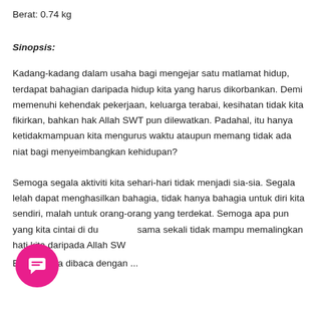Berat: 0.74 kg
Sinopsis:
Kadang-kadang dalam usaha bagi mengejar satu matlamat hidup, terdapat bahagian daripada hidup kita yang harus dikorbankan. Demi memenuhi kehendak pekerjaan, keluarga terabai, kesihatan tidak kita fikirkan, bahkan hak Allah SWT pun dilewatkan. Padahal, itu hanya ketidakmampuan kita mengurus waktu ataupun memang tidak ada niat bagi menyeimbangkan kehidupan?
Semoga segala aktiviti kita sehari-hari tidak menjadi sia-sia. Segala lelah dapat menghasilkan bahagia, tidak hanya bahagia untuk diri kita sendiri, malah untuk orang-orang yang terdekat. Semoga apa pun yang kita cintai di du... sama sekali tidak mampu memalingkan hati kita daripada Allah SW...
Buku ini jika dibaca dengan ...